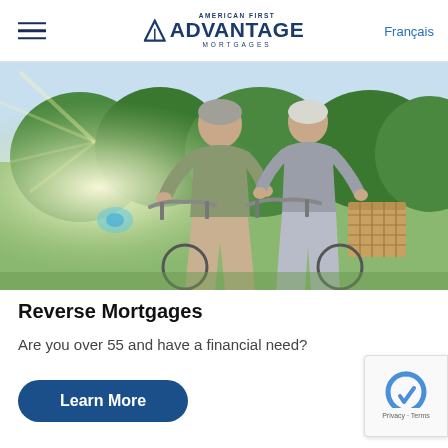Advantage Mortgages — Français
[Figure (photo): An older couple smiling and riding bicycles together outdoors in a sunny, green setting. The man and woman appear to be in their late 50s or 60s. The woman has a wicker basket on her bicycle.]
Reverse Mortgages
Are you over 55 and have a financial need?
Learn More